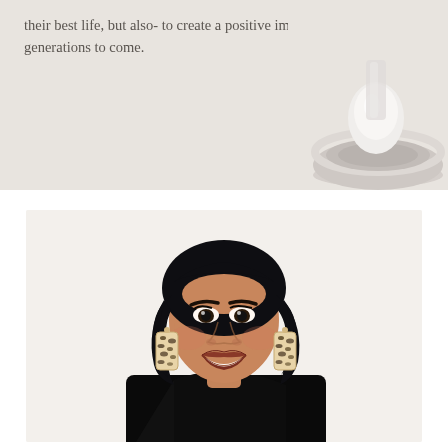their best life, but also- to create a positive impact for the generations to come.
[Figure (photo): Product photo showing a white bowl or dish with a smooth white egg-shaped object, on a light beige/grey background]
[Figure (photo): Portrait photo of a smiling woman with short dark wavy hair, wearing a black one-shoulder top and leopard print earrings, on a white background]